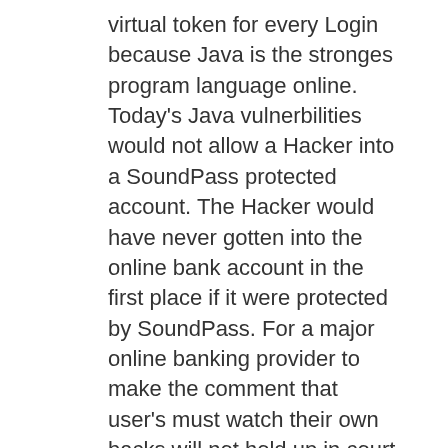virtual token for every Login because Java is the stronges program language online. Today's Java vulnerbilities would not allow a Hacker into a SoundPass protected account. The Hacker would have never gotten into the online bank account in the first place if it were protected by SoundPass. For a major online banking provider to make the comment that user's must watch their own backs will not hold up in court of law, as we have already seen. Banks are responsible for providing best possible security per the FFIEC.
Banks could implement Smartcards to properly protect their online banking members but Smartcards are more expensive, difficult to deploy to massive volumes of users and they are cumbersome for the users. By the way, SoundPass was designed from a Smartcard. So their are strong solutions available and